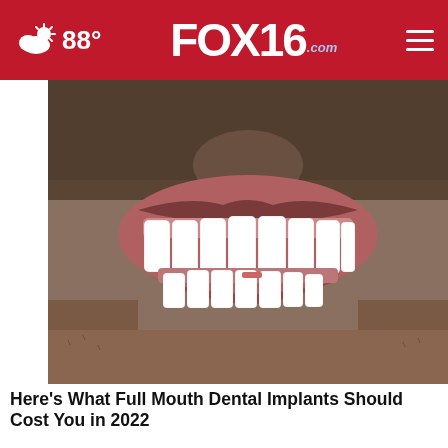88° FOX16.com
[Figure (photo): Close-up photo of a man's mouth showing bright white dental implants/veneers smiling, with facial stubble visible]
Here's What Full Mouth Dental Implants Should Cost You in 2022
Dental Implants | Search Ads
[Figure (screenshot): Advertisement banner for Shorter College with yellow background showing 'THE BEST OUT OF S' with a tiger mascot logo and people in the background]